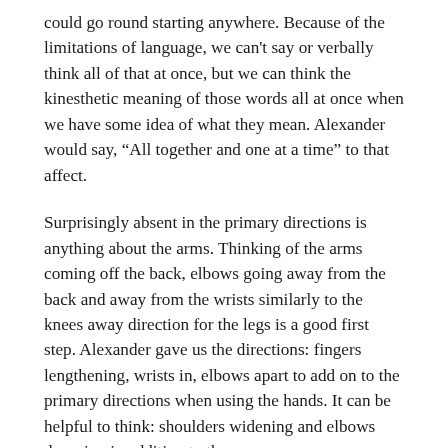could go round starting anywhere. Because of the limitations of language, we can't say or verbally think all of that at once, but we can think the kinesthetic meaning of those words all at once when we have some idea of what they mean. Alexander would say, “All together and one at a time” to that affect.
Surprisingly absent in the primary directions is anything about the arms. Thinking of the arms coming off the back, elbows going away from the back and away from the wrists similarly to the knees away direction for the legs is a good first step. Alexander gave us the directions: fingers lengthening, wrists in, elbows apart to add on to the primary directions when using the hands. It can be helpful to think: shoulders widening and elbows dropping in addition to these.